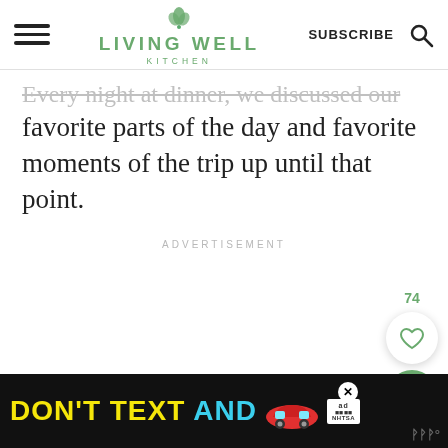Living Well Kitchen — SUBSCRIBE
Every night at dinner, we discussed our favorite parts of the day and favorite moments of the trip up until that point.
ADVERTISEMENT
[Figure (other): Advertisement banner at bottom: DON'T TEXT AND [car emoji] with ad badge and NHTSA logo on black background]